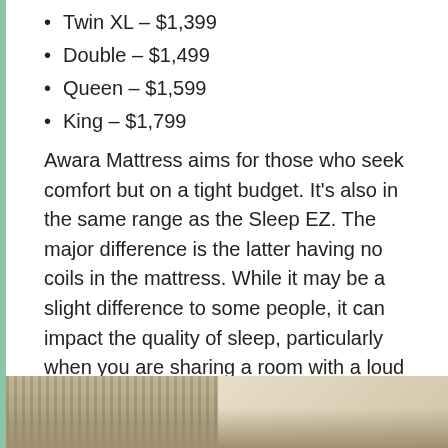Twin XL – $1,399
Double – $1,499
Queen – $1,599
King – $1,799
Awara Mattress aims for those who seek comfort but on a tight budget. It's also in the same range as the Sleep EZ. The major difference is the latter having no coils in the mattress. While it may be a slight difference to some people, it can impact the quality of sleep, particularly when you are sharing a room with a loud partner.
Either way, it's up to you if you would like to get an appropriate mattress for your home. What it does is provide the best quality sleep.
[Figure (photo): A close-up photo of a mattress or bedding with striped texture on the left and white/cream fabric on the right.]